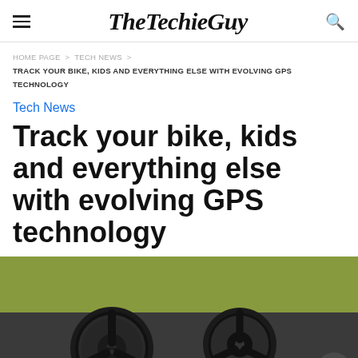TheTechieGuy
HOME PAGE > TECH NEWS > TRACK YOUR BIKE, KIDS AND EVERYTHING ELSE WITH EVOLVING GPS TECHNOLOGY
Tech News
Track your bike, kids and everything else with evolving GPS technology
[Figure (photo): Close-up photo of two circular black GPS tracker devices on a dark surface, with a red button between them. A triangular scroll-to-top button overlay is visible in the bottom right corner.]